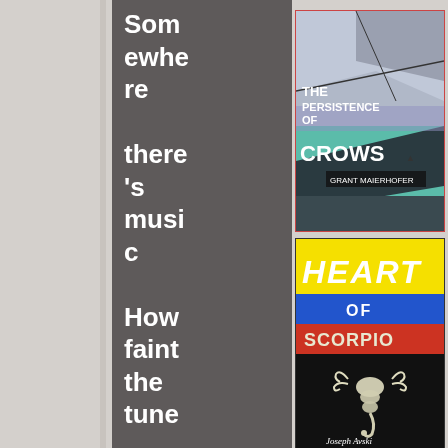Somewhere there's music

How faint the tune

Somewhe
[Figure (photo): Book cover: THE PERSISTENCE OF CROWS by Grant Maierhofer. Features architectural interior with geometric lines, teal/turquoise lower section, and bold white text.]
[Figure (photo): Book cover: HEART OF SCORPIO by Joseph Avski. Yellow top band with 'HEART', blue band with 'OF', red band with 'SCORPIO', black bottom with scorpion illustration.]